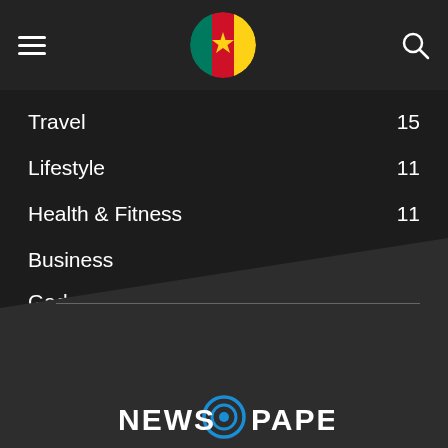Navigation header with hamburger menu, Cameroon flag logo, and search icon
Travel 15
Lifestyle 11
Health & Fitness 11
Business 11
Gadgets 11
Recipes 11
Style Hunter 10
Street Fashion 10
[Figure (logo): NEWS PAPER logo with circular icon at bottom of page]
NEWS PAPER